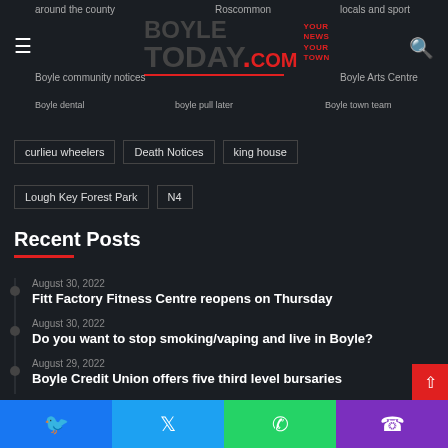BoyleToday.com — Your News Your Town
curlieu wheelers
Death Notices
king house
Lough Key Forest Park
N4
Recent Posts
August 30, 2022
Fitt Factory Fitness Centre reopens on Thursday
August 30, 2022
Do you want to stop smoking/vaping and live in Boyle?
August 29, 2022
Boyle Credit Union offers five third level bursaries